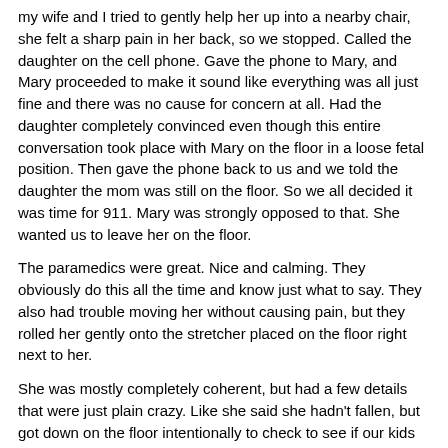my wife and I tried to gently help her up into a nearby chair, she felt a sharp pain in her back, so we stopped. Called the daughter on the cell phone. Gave the phone to Mary, and Mary proceeded to make it sound like everything was all just fine and there was no cause for concern at all. Had the daughter completely convinced even though this entire conversation took place with Mary on the floor in a loose fetal position. Then gave the phone back to us and we told the daughter the mom was still on the floor. So we all decided it was time for 911. Mary was strongly opposed to that. She wanted us to leave her on the floor.
The paramedics were great. Nice and calming. They obviously do this all the time and know just what to say. They also had trouble moving her without causing pain, but they rolled her gently onto the stretcher placed on the floor right next to her.
She was mostly completely coherent, but had a few details that were just plain crazy. Like she said she hadn't fallen, but got down on the floor intentionally to check to see if our kids were home from school. And she thought she was on the bedroom floor, while we were in the living room. And she wanted her breakfast, even though it was 6PM.
My wife drove to the ER to meet the ambulance and be with her until some other relatives who live 2 hours away could make it to the hospital.
So it's too soon to tell, but I bet she doesn't come back. Her house isn't wheelchair accessible and she lives alone, so I don't think she can take care of herself any more. I think we're losing a good neighbor. And I'm apprehensive that the new neighbor won't be as good.